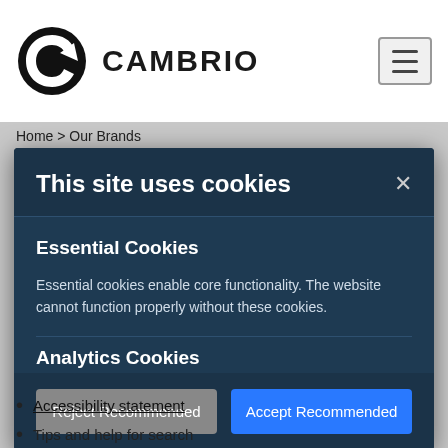[Figure (logo): Cambrio logo: black circular icon with stylized 'G' arrow shape, followed by the text CAMBRIO in bold black]
Home > Our Brands
This site uses cookies
Essential Cookies
Essential cookies enable core functionality. The website cannot function properly without these cookies.
Analytics Cookies
Reject Recommended
Accept Recommended
Accessibility statement
Tips and help for search